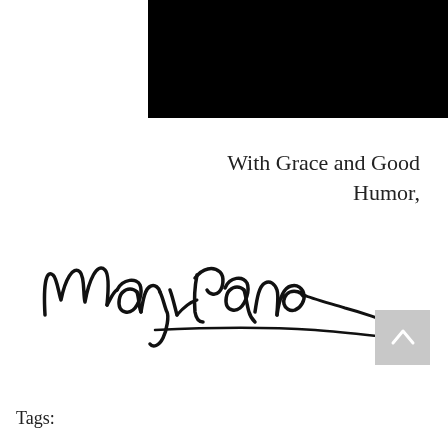[Figure (photo): Black rectangular image/photo area at the top right portion of the page]
With Grace and Good Humor,
[Figure (illustration): Handwritten cursive signature reading 'Mary Lane']
Tags: